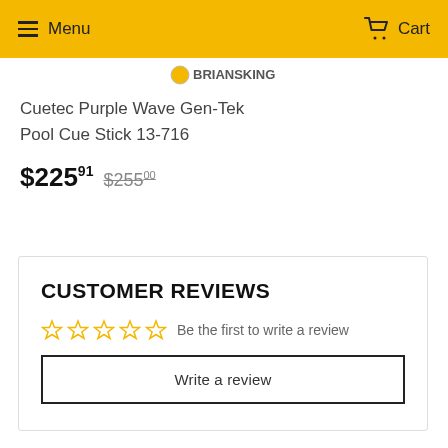Menu  Cart
[Figure (logo): BriansVELO logo in gray, small, centered below header]
Cuetec Purple Wave Gen-Tek Pool Cue Stick 13-716
$225.91  $255.00
CUSTOMER REVIEWS
☆☆☆☆☆  Be the first to write a review
Write a review